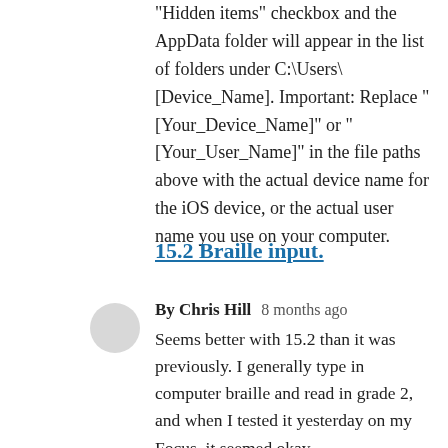"Hidden items" checkbox and the AppData folder will appear in the list of folders under C:\Users\[Device_Name]. Important: Replace "[Your_Device_Name]" or "[Your_User_Name]" in the file paths above with the actual device name for the iOS device, or the actual user name you use on your computer.
15.2 Braille input.
By Chris Hill   8 months ago
Seems better with 15.2 than it was previously. I generally type in computer braille and read in grade 2, and when I tested it yesterday on my Focus, it seemed okay.